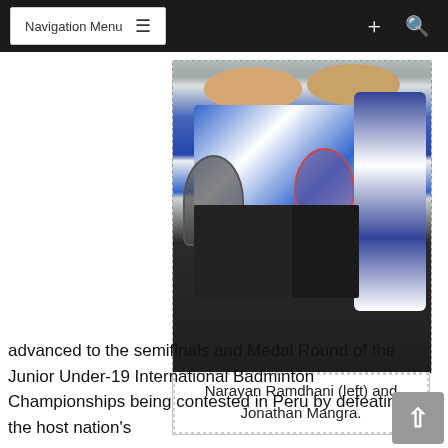Navigation Menu
[Figure (photo): Two young male badminton players standing together. The player on the left holds a badminton racket and wears a blue and white sports jersey with dark shorts. The player on the right also holds a racket and wears a white and blue sports jersey, carrying a large blue and white sports bag.]
Narayan Ramdhani (left) and Jonathan Mangra.
advanced to the semifinals and Medal Round of the Junior Under-19 International Badminton Championships being contested in Peru by defeating the host nation's